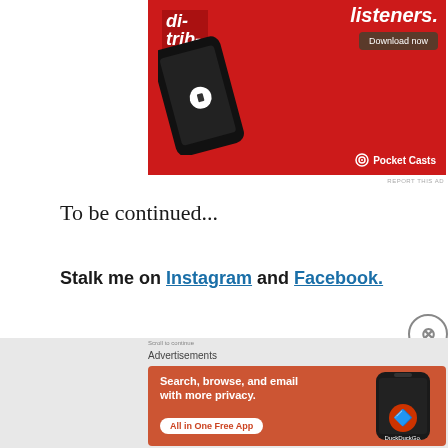[Figure (photo): Pocket Casts advertisement banner with red background, a smartphone showing podcast player UI, bold italic text 'di-trib-uted', 'listeners.' headline, 'Download now' button, and Pocket Casts logo.]
REPORT THIS AD
To be continued...
Stalk me on Instagram and Facebook.
[Figure (photo): DuckDuckGo advertisement on orange-red background with text 'Search, browse, and email with more privacy.' and 'All in One Free App' button, plus DuckDuckGo phone mockup and logo.]
Advertisements